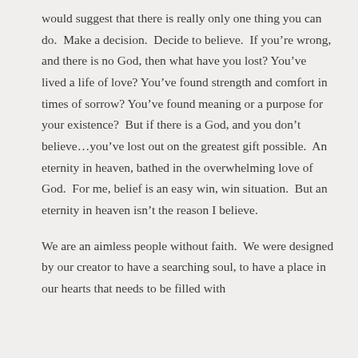would suggest that there is really only one thing you can do.  Make a decision.  Decide to believe.  If you're wrong, and there is no God, then what have you lost?  You've lived a life of love? You've found strength and comfort in times of sorrow? You've found meaning or a purpose for your existence?  But if there is a God, and you don't believe…you've lost out on the greatest gift possible.  An eternity in heaven, bathed in the overwhelming love of God.  For me, belief is an easy win, win situation.  But an eternity in heaven isn't the reason I believe.
We are an aimless people without faith.  We were designed by our creator to have a searching soul, to have a place in our hearts that needs to be filled with